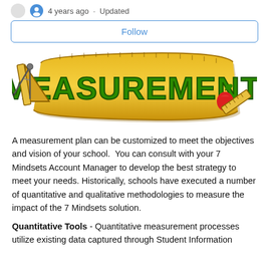4 years ago · Updated
Follow
[Figure (illustration): Colorful educational banner graphic with the word MEASUREMENT in bold green letters on a golden ribbon/tape measure banner, with drawing tools (compass, ruler, set square) on the left side and an apple on the right side.]
A measurement plan can be customized to meet the objectives and vision of your school.  You can consult with your 7 Mindsets Account Manager to develop the best strategy to meet your needs. Historically, schools have executed a number of quantitative and qualitative methodologies to measure the impact of the 7 Mindsets solution.
Quantitative Tools - Quantitative measurement processes utilize existing data captured through Student Information